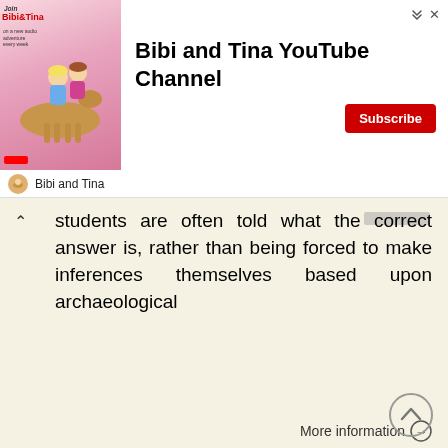[Figure (illustration): Bibi and Tina YouTube Channel advertisement banner with animated characters on horseback on a pink/colorful background]
students are often told what the correct answer is, rather than being forced to make inferences themselves based upon archaeological
More information →